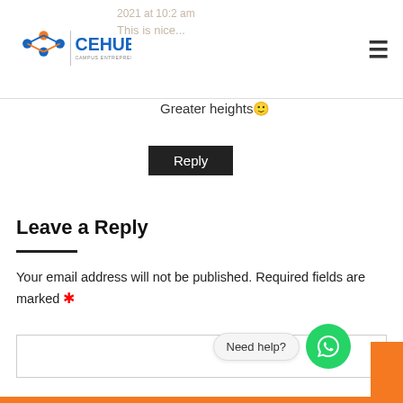CEHUB - Campus Entrepreneurs Hub logo and navigation
Greater heights🙂
Reply
Leave a Reply
Your email address will not be published. Required fields are marked *